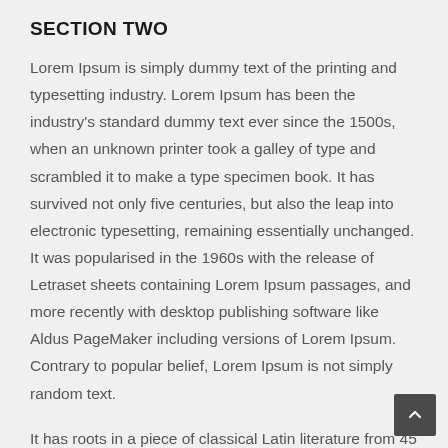SECTION TWO
Lorem Ipsum is simply dummy text of the printing and typesetting industry. Lorem Ipsum has been the industry's standard dummy text ever since the 1500s, when an unknown printer took a galley of type and scrambled it to make a type specimen book. It has survived not only five centuries, but also the leap into electronic typesetting, remaining essentially unchanged. It was popularised in the 1960s with the release of Letraset sheets containing Lorem Ipsum passages, and more recently with desktop publishing software like Aldus PageMaker including versions of Lorem Ipsum. Contrary to popular belief, Lorem Ipsum is not simply random text.
It has roots in a piece of classical Latin literature from 45 BC, making it over 2000 years old. Richard